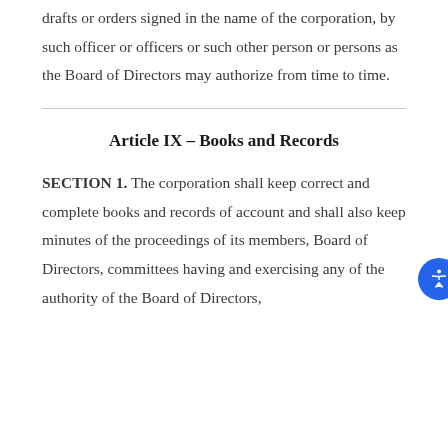drafts or orders signed in the name of the corporation, by such officer or officers or such other person or persons as the Board of Directors may authorize from time to time.
Article IX – Books and Records
SECTION 1. The corporation shall keep correct and complete books and records of account and shall also keep minutes of the proceedings of its members, Board of Directors, committees having and exercising any of the authority of the Board of Directors,